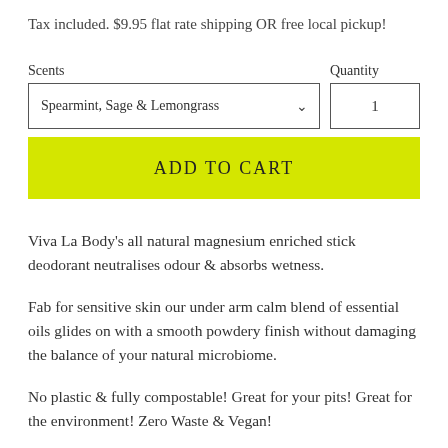Tax included. $9.95 flat rate shipping OR free local pickup!
Scents
Spearmint, Sage & Lemongrass
Quantity
1
ADD TO CART
Viva La Body's all natural magnesium enriched stick deodorant neutralises odour & absorbs wetness.
Fab for sensitive skin our under arm calm blend of essential oils glides on with a smooth powdery finish without damaging the balance of your natural microbiome.
No plastic & fully compostable! Great for your pits! Great for the environment! Zero Waste & Vegan!